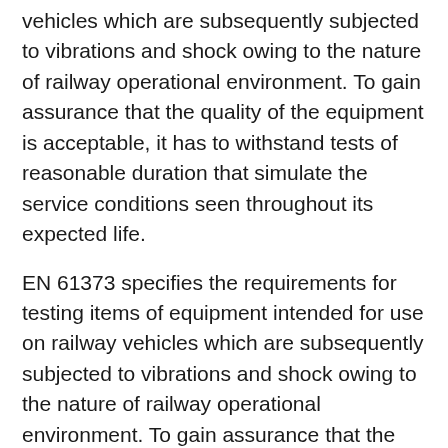vehicles which are subsequently subjected to vibrations and shock owing to the nature of railway operational environment. To gain assurance that the quality of the equipment is acceptable, it has to withstand tests of reasonable duration that simulate the service conditions seen throughout its expected life.
EN 61373 specifies the requirements for testing items of equipment intended for use on railway vehicles which are subsequently subjected to vibrations and shock owing to the nature of railway operational environment. To gain assurance that the quality of the equipment is acceptable, it has to withstand tests of reasonable duration that simulate the service conditions seen throughout its expected life.